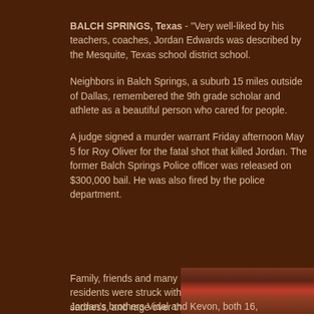BALCH SPRINGS, Texas - "Very well-liked by his teachers, coaches, Jordan Edwards was described by the Mesquite, Texas school district school.
Neighbors in Balch Springs, a suburb 15 miles outside of Dallas, remembered the 9th grade scholar and athlete as a beautiful person who cared for people.
A judge signed a murder warrant Friday afternoon May 5 for Roy Oliver for the fatal shot that killed Jordan. The former Balch Springs Police officer was released on $300,000 bail. He was also fired by the police department.
Family, friends and many Balch Springs residents were struck with grief, sadness, and rage over the apparently senseless killing of Jordan by the White officer. Mr. Oliver responded April 29 along with other officers to a report of intoxicated teens at a party.
[Figure (photo): Photo of Jordan Edwards, a young Black male, appears to be in a gym setting with basketball hoop visible in background. Two people visible in the image.]
Jordan's brothers Vidal and Kevon, both 16,